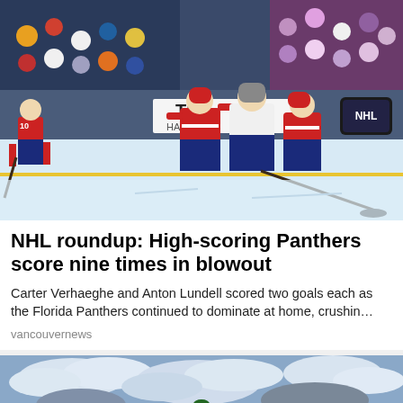[Figure (photo): Florida Panthers hockey players in red jerseys celebrating on the ice, with NHL logo visible in the background, arena crowd behind them]
NHL roundup: High-scoring Panthers score nine times in blowout
Carter Verhaeghe and Anton Lundell scored two goals each as the Florida Panthers continued to dominate at home, crushin…
vancouvernews
[Figure (photo): Person performing an aerial stunt or skiing trick against a cloudy sky background]